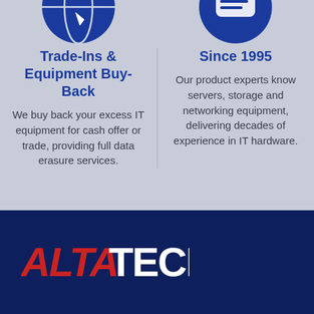[Figure (illustration): Two circular dark blue icons at top — left shows a globe with a cursor/arrow, right shows a speech/chat bubble with lines, partially cropped at top]
Trade-Ins & Equipment Buy-Back
We buy back your excess IT equipment for cash offer or trade, providing full data erasure services.
Since 1995
Our product experts know servers, storage and networking equipment, delivering decades of experience in IT hardware.
[Figure (logo): ALTATECH logo — ALTA in red italic bold, TECH in white bold, on dark navy background]